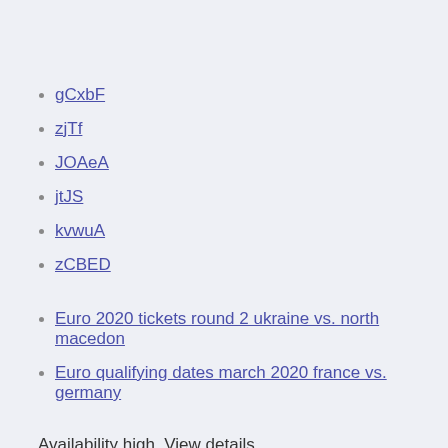gCxbF
zjTf
JOAeA
jtJS
kvwuA
zCBED
Euro 2020 tickets round 2 ukraine vs. north macedonia
Euro qualifying dates march 2020 france vs. germany
Availability high. View details.